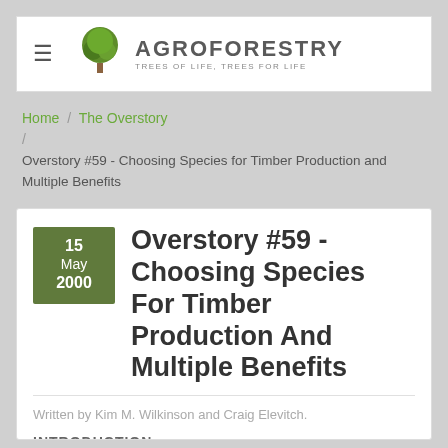AGROFORESTRY — TREES OF LIFE, TREES FOR LIFE
Home / The Overstory / Overstory #59 - Choosing Species for Timber Production and Multiple Benefits
Overstory #59 - Choosing Species For Timber Production And Multiple Benefits
15 May 2000
Written by Kim M. Wilkinson and Craig Elevitch.
INTRODUCTION